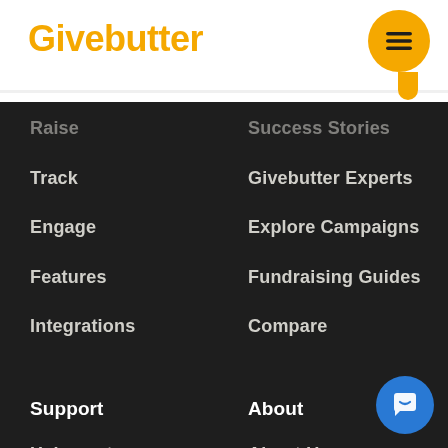Givebutter
Raise
Success Stories
Track
Givebutter Experts
Engage
Explore Campaigns
Features
Fundraising Guides
Integrations
Compare
Support
About
Help center
About Us
Roadmap
Pricing
Changelog
Careers
Contact Us
Press